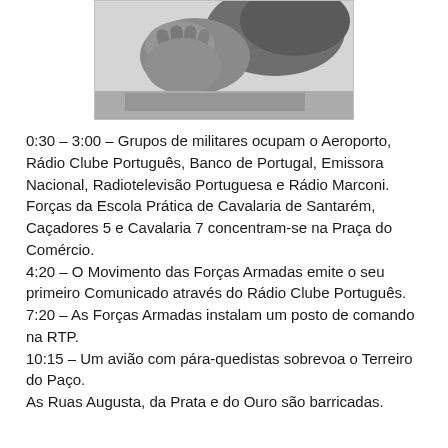[Figure (photo): Black and white photograph, appears to show hands or a face in close-up, grayscale tones]
0:30 – 3:00 – Grupos de militares ocupam o Aeroporto, Rádio Clube Português, Banco de Portugal, Emissora Nacional, Radiotelevisão Portuguesa e Rádio Marconi. Forças da Escola Prática de Cavalaria de Santarém, Caçadores 5 e Cavalaria 7 concentram-se na Praça do Comércio.
4:20 – O Movimento das Forças Armadas emite o seu primeiro Comunicado através do Rádio Clube Português.
7:20 – As Forças Armadas instalam um posto de comando na RTP.
10:15 – Um avião com pára-quedistas sobrevoa o Terreiro do Paço.
As Ruas Augusta, da Prata e do Ouro são barricadas.